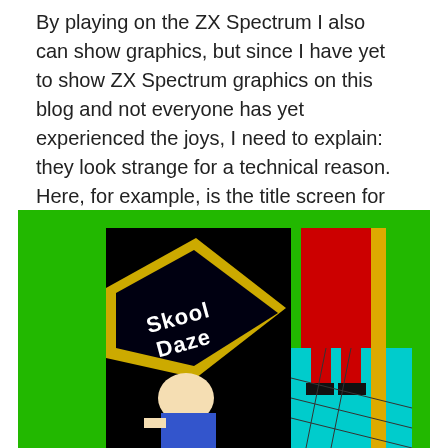By playing on the ZX Spectrum I also can show graphics, but since I have yet to show ZX Spectrum graphics on this blog and not everyone has yet experienced the joys, I need to explain: they look strange for a technical reason. Here, for example, is the title screen for one of the best of the ZX Spectrum games:
[Figure (screenshot): ZX Spectrum title screen for 'Skool Daze' game, showing a boy in a school hallway with text 'Skool Daze' on a black diamond background, with a teacher figure in red visible on the right side. Green background border surrounds the image.]